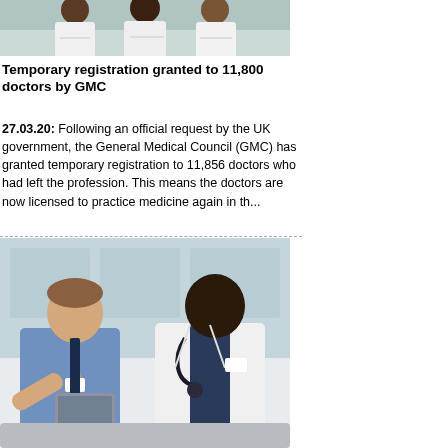[Figure (photo): Group of medical professionals / doctors in white coats standing together with arms crossed, upper body visible]
Temporary registration granted to 11,800 doctors by GMC
27.03.20: Following an official request by the UK government, the General Medical Council (GMC) has granted temporary registration to 11,856 doctors who had left the profession. This means the doctors are now licensed to practice medicine again in th...
[Figure (photo): Two men sitting together — a man in a blue shirt with a lanyard holding a tablet and talking, and a doctor in a white coat with a stethoscope listening]